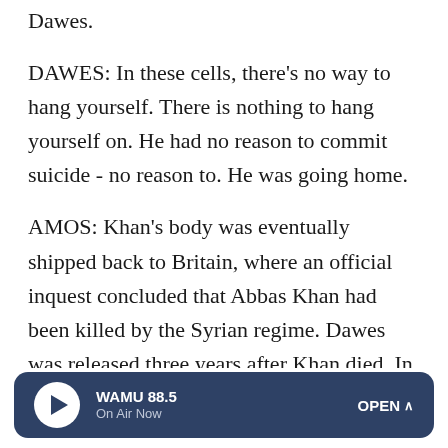Dawes.
DAWES: In these cells, there's no way to hang yourself. There is nothing to hang yourself on. He had no reason to commit suicide - no reason to. He was going home.
AMOS: Khan's body was eventually shipped back to Britain, where an official inquest concluded that Abbas Khan had been killed by the Syrian regime. Dawes was released three years after Khan died. In October, Dawes filed suit against the Syrian government in a U.S. district court in Washington, D.C. He's alleging torture and mistreatment. The Syrian government hasn't responded to the lawsuit, nor to NPR's request for comment.
WAMU 88.5 On Air Now OPEN